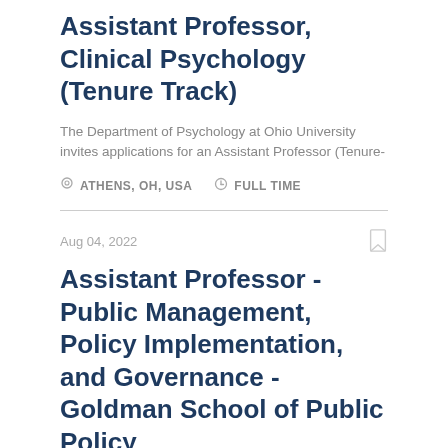Assistant Professor, Clinical Psychology (Tenure Track)
The Department of Psychology at Ohio University invites applications for an Assistant Professor (Tenure-
ATHENS, OH, USA   FULL TIME
Aug 04, 2022
Assistant Professor - Public Management, Policy Implementation, and Governance - Goldman School of Public Policy
Assistant Professor - Public Management, Policy Implementation, and Governance - Goldman School of